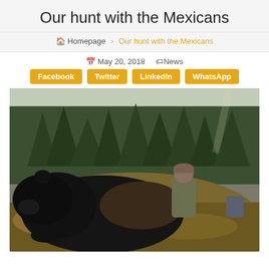Our hunt with the Mexicans
🏠 Homepage › Our hunt with the Mexicans
📅 May 20, 2018  🏷News
Facebook  Twitter  LinkedIn  WhatsApp
[Figure (photo): A hunter posing behind a large dead black bear lying on the ground in a forest clearing with conifer trees in the background.]